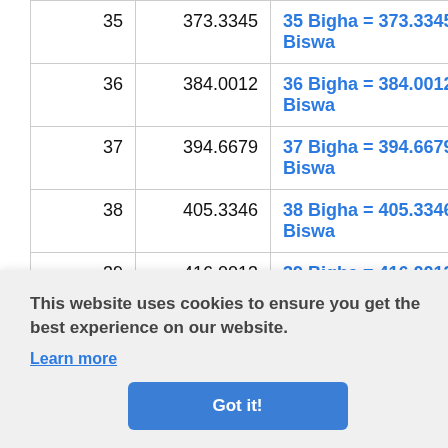| Bigha | Biswa | Conversion |
| --- | --- | --- |
| 35 | 373.3345 | 35 Bigha = 373.3345 Biswa |
| 36 | 384.0012 | 36 Bigha = 384.0012 Biswa |
| 37 | 394.6679 | 37 Bigha = 394.6679 Biswa |
| 38 | 405.3346 | 38 Bigha = 405.3346 Biswa |
| 39 | 416.0013 | 39 Bigha = 416.0013 Biswa |
This website uses cookies to ensure you get the best experience on our website. Learn more